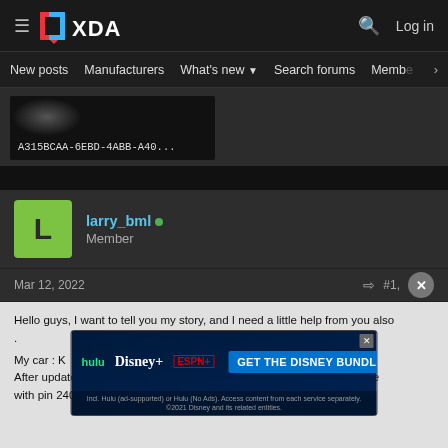XDA — New posts | Manufacturers | What's new | Search forums | Members
[Figure (screenshot): Dark thumbnail image showing a UUID-like string: A315BCAA-6EBD-4ABB-A40...]
larry_bml
Member
Mar 12, 2022   #1,
Hello guys, I want to tell you my story, and I need a little help from you also .
My car : K... 210930
After update, no way to find pin for engineering mode, only dealer mode
with pin 2400 and 2.3.1 volume combinatio. But with no solution, hel...
[Figure (screenshot): Advertisement banner: GET THE DISNEY BUNDLE — Hulu, Disney+, ESPN+. Incl. Hulu (ad-supported) or Hulu (No Ads). Access content from each service separately. ©2021 Disney and its related entities.]